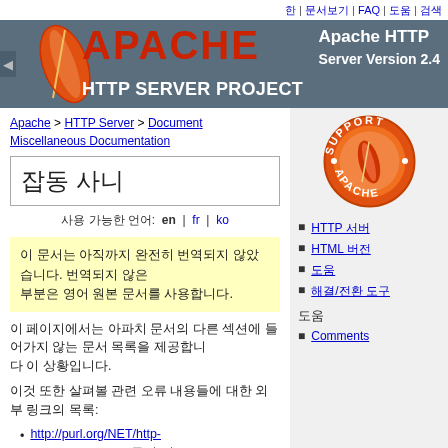한 | 문서보기 | FAQ | 도움 | 검색
[Figure (logo): Apache HTTP Server Project banner with feather logo and text 'APACHE HTTP SERVER PROJECT - Apache HTTP Server Version 2.4']
Apache > HTTP Server > Documentation > Miscellaneous Documentation
잡동 사니
사용 가능한 언어:  en  |  fr  |  ko
이 문서는 아직까지 완전히 번역되지 않았습니다. 번역되지 않은 부분은 영어 원본 문서를 사용합니다.
이 페이지에서는 아파치 문서의 다른 섹션에 들어가지 않는 문서 목록을 제공합니다.
이것 또한 살펴볼 관련 오류 내용들에 대한 외부 링크의 목록:
http://purl.org/NET/http-errata - HTTP/1.1 규격 정오표
http://www.rfc-editor.org/errata.html -
[Figure (logo): Apache Support badge - circular orange badge with feather logo]
HTTP 서버
HTML 버전
도움
해결/전환 도구
도움
Comments